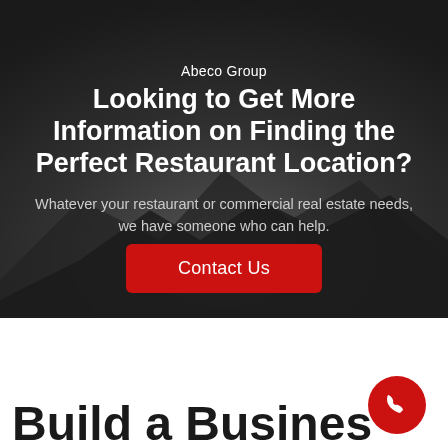Abeco Group
Looking to Get More Information on Finding the Perfect Restaurant Location?
Whatever your restaurant or commercial real estate needs, we have someone who can help.
Contact Us
Build a Business